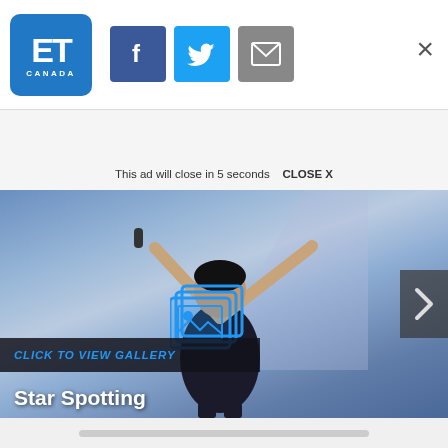[Figure (logo): ET Canada logo — blue rounded square with ET in white large text and CANADA in small white caps below]
[Figure (infographic): Facebook share button (blue square with white f), Twitter share button (cyan square with white bird), Email share button (gray square with white envelope), and X close button on the right]
This ad will close in 5 seconds    CLOSE X
[Figure (photo): Female performer on stage with arms raised, holding microphone, wearing black bodysuit, blue/purple stage lighting background. Center overlay shows gallery icon (stacked photo frames). Bottom left dark banner reads CLICK TO VIEW GALLERY. Below that reads Star Spotting. Right side has a gray next arrow button.]
CLICK TO VIEW GALLERY
Star Spotting